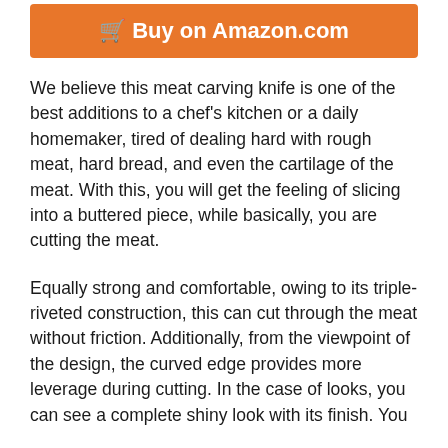[Figure (other): Buy on Amazon.com orange button with cart icon]
We believe this meat carving knife is one of the best additions to a chef's kitchen or a daily homemaker, tired of dealing hard with rough meat, hard bread, and even the cartilage of the meat. With this, you will get the feeling of slicing into a buttered piece, while basically, you are cutting the meat.
Equally strong and comfortable, owing to its triple-riveted construction, this can cut through the meat without friction. Additionally, from the viewpoint of the design, the curved edge provides more leverage during cutting. In the case of looks, you can see a complete shiny look with its finish. You